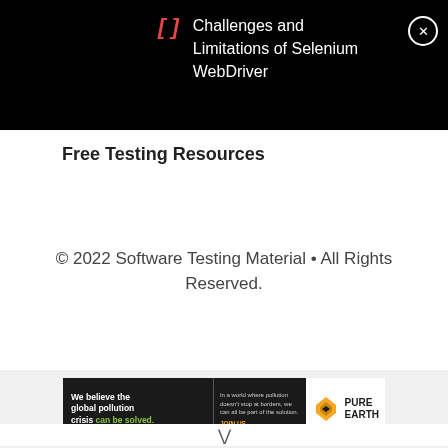[Figure (screenshot): Black navigation bar with bracket icon in red italic, title 'Challenges and Limitations of Selenium WebDriver' in white, and a circular close (X) button on the right]
Free Testing Resources
© 2022 Software Testing Material • All Rights Reserved.
[Figure (other): Advertisement banner for Pure Earth. Left side black background: 'We believe the global pollution crisis can be solved.' Middle text: 'In a world where pollution doesn't stop at borders, we can all be part of the solution. JOIN US.' Right side: Pure Earth logo with diamond icon.]